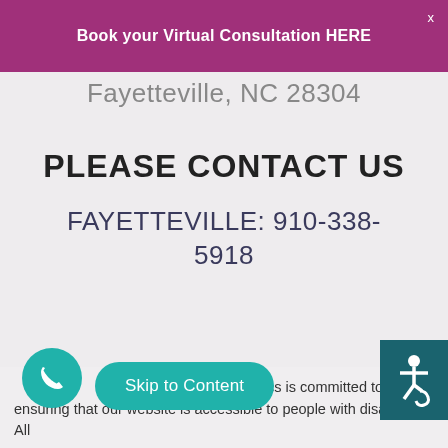Book your Virtual Consultation HERE
Fayetteville, NC 28304
PLEASE CONTACT US
FAYETTEVILLE: 910-338-5918
Cape Fear Aesthetics is committed to ensuring that our website is accessible to people with disabilities. All
Skip to Content